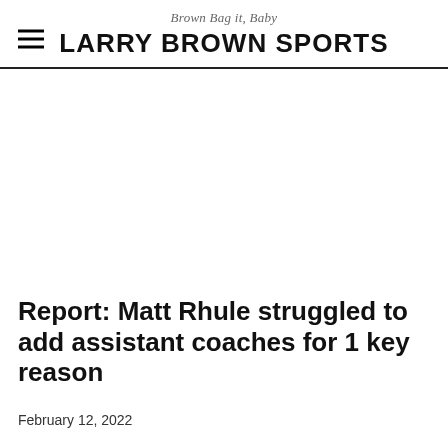Brown Bag it, Baby
LARRY BROWN SPORTS
Report: Matt Rhule struggled to add assistant coaches for 1 key reason
February 12, 2022